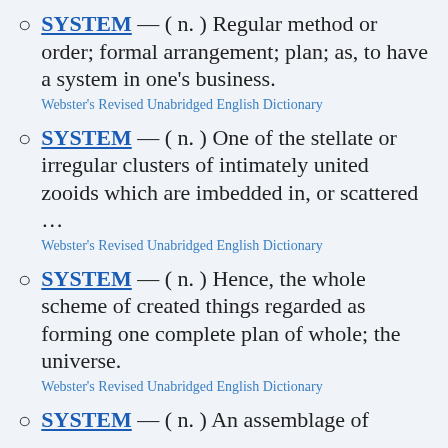SYSTEM — ( n. ) Regular method or order; formal arrangement; plan; as, to have a system in one's business. Webster's Revised Unabridged English Dictionary
SYSTEM — ( n. ) One of the stellate or irregular clusters of intimately united zooids which are imbedded in, or scattered … Webster's Revised Unabridged English Dictionary
SYSTEM — ( n. ) Hence, the whole scheme of created things regarded as forming one complete plan of whole; the universe. Webster's Revised Unabridged English Dictionary
SYSTEM — ( n. ) An assemblage of ...